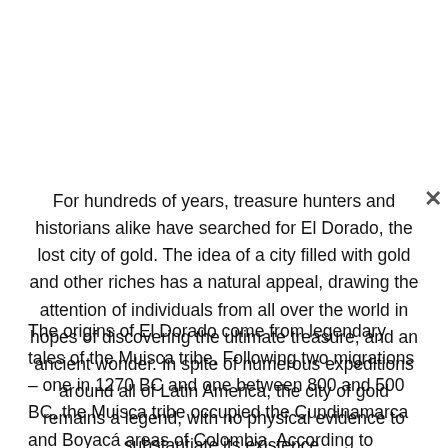For hundreds of years, treasure hunters and historians alike have searched for El Dorado, the lost city of gold. The idea of a city filled with gold and other riches has a natural appeal, drawing the attention of individuals from all over the world in hopes of discovering the ultimate treasure, and an ancient wonder. In spite of numerous expeditions around all of Latin America, the city of gold remains a legend, with no physical evidence to substantiate its existence.
The origins of El Dorado come from legendary tales of the Muisca tribe. Following two migrations – one in 1270 BC and one between 800 and 500 BC, the Muisca tribe occupied the Cundinamarca and Boyacá areas of Colombia. According to legend, as written in Juan Rodriguez Freyle's “El Carnero,” the